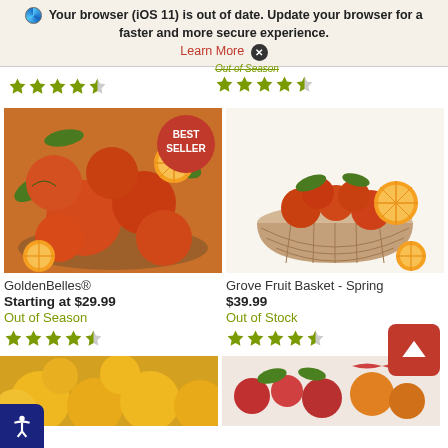Your browser (iOS 11) is out of date. Update your browser for a faster and more secure experience. Learn More ✕
[Figure (screenshot): Partial product listing row showing star ratings (4.5 stars) for two products at top of page, cropped]
[Figure (photo): GoldenBelles® product - pile of red/orange tangelos on a plate with orange slices, BEST SELLER badge]
GoldenBelles®
Starting at $29.99
Out of Season
[Figure (photo): Grove Fruit Basket - Spring product - basket filled with oranges and tangerines on white background]
Grove Fruit Basket - Spring
$39.99
Out of Stock
[Figure (photo): Partial bottom row showing two more product images cropped at bottom of page]